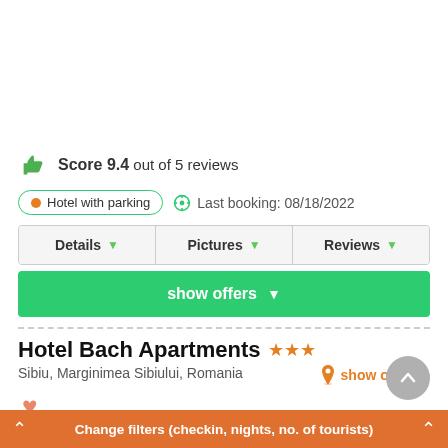Score 9.4 out of 5 reviews
Hotel with parking | Last booking: 08/18/2022
Details | Pictures | Reviews
show offers
Hotel Bach Apartments ★★★
Sibiu, Marginimea Sibiului, Romania
show on map
Score 9.4 out of 5 reviews
Change filters (checkin, nights, no. of tourists)